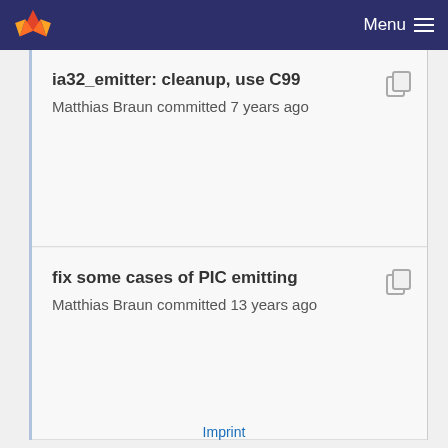Menu
ia32_emitter: cleanup, use C99
Matthias Braun committed 7 years ago
fix some cases of PIC emitting
Matthias Braun committed 13 years ago
Imprint